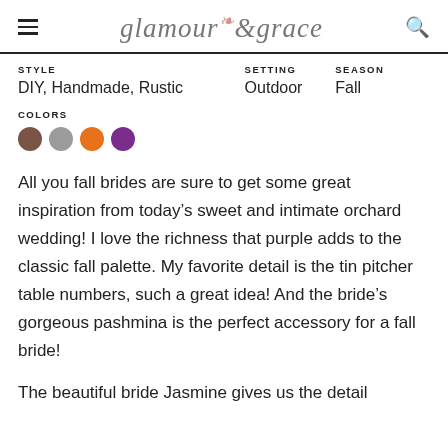glamour & grace
| STYLE | SETTING | SEASON |
| --- | --- | --- |
| DIY, Handmade, Rustic | Outdoor | Fall |
COLORS
[Figure (illustration): Four color swatches: brown, gray, orange, purple circles]
All you fall brides are sure to get some great inspiration from today’s sweet and intimate orchard wedding! I love the richness that purple adds to the classic fall palette. My favorite detail is the tin pitcher table numbers, such a great idea! And the bride’s gorgeous pashmina is the perfect accessory for a fall bride!
The beautiful bride Jasmine gives us the detail